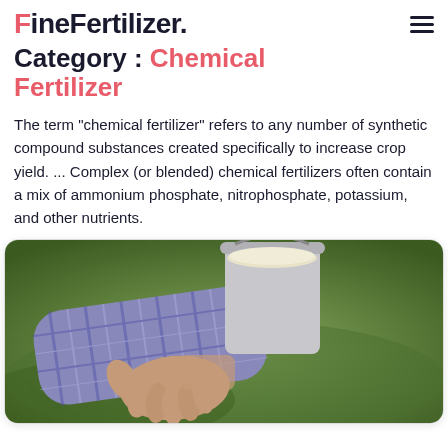FineFertilizer.
Category : Chemical Fertilizer
The term "chemical fertilizer" refers to any number of synthetic compound substances created specifically to increase crop yield. ... Complex (or blended) chemical fertilizers often contain a mix of ammonium phosphate, nitrophosphate, potassium, and other nutrients.
[Figure (photo): A person in a plaid shirt holding a white bucket, likely containing fertilizer, with a green field in the background.]